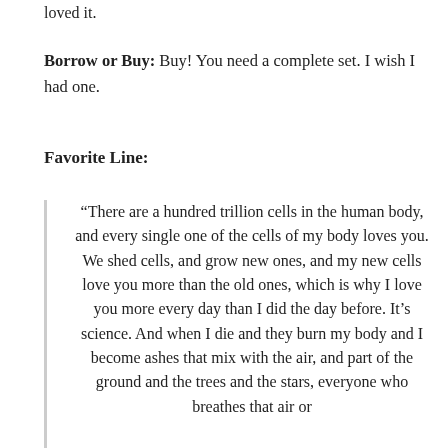loved it.
Borrow or Buy: Buy! You need a complete set. I wish I had one.
Favorite Line:
“There are a hundred trillion cells in the human body, and every single one of the cells of my body loves you. We shed cells, and grow new ones, and my new cells love you more than the old ones, which is why I love you more every day than I did the day before. It’s science. And when I die and they burn my body and I become ashes that mix with the air, and part of the ground and the trees and the stars, everyone who breathes that air or